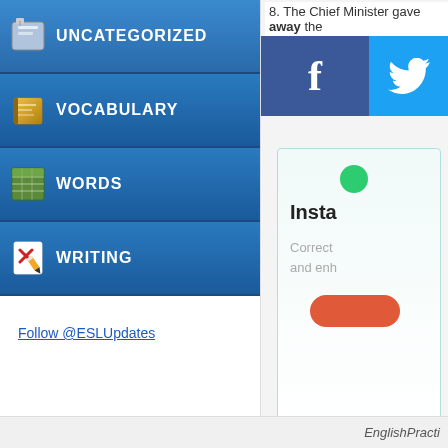UNCATEGORIZED
VOCABULARY
WORDS
WRITING
Follow @ESLUpdates
8. The Chief Minister gave away the
[Figure (infographic): Facebook and Twitter social share buttons. Facebook button (dark blue with 'f' logo) on left, Twitter button (cyan with bird logo) on right.]
[Figure (infographic): Insta widget box with green dot, bold title starting 'Insta', description text starting 'Correct' and 'and enh', and a red rounded button.]
EnglishPracti